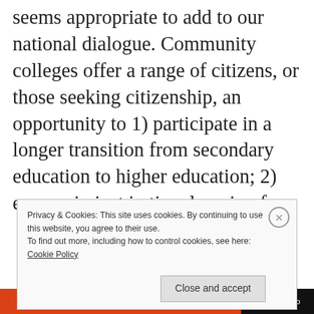seems appropriate to add to our national dialogue. Community colleges offer a range of citizens, or those seeking citizenship, an opportunity to 1) participate in a longer transition from secondary education to higher education; 2) engage in just in time learning for a
Privacy & Cookies: This site uses cookies. By continuing to use this website, you agree to their use.
To find out more, including how to control cookies, see here: Cookie Policy
Close and accept